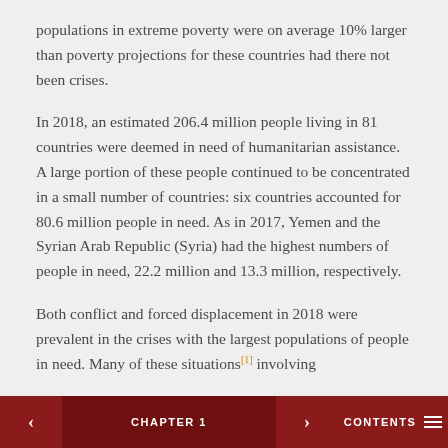populations in extreme poverty were on average 10% larger than poverty projections for these countries had there not been crises.
In 2018, an estimated 206.4 million people living in 81 countries were deemed in need of humanitarian assistance. A large portion of these people continued to be concentrated in a small number of countries: six countries accounted for 80.6 million people in need. As in 2017, Yemen and the Syrian Arab Republic (Syria) had the highest numbers of people in need, 22.2 million and 13.3 million, respectively.
Both conflict and forced displacement in 2018 were prevalent in the crises with the largest populations of people in need. Many of these situations[1] involving
< CHAPTER 1 > CONTENTS